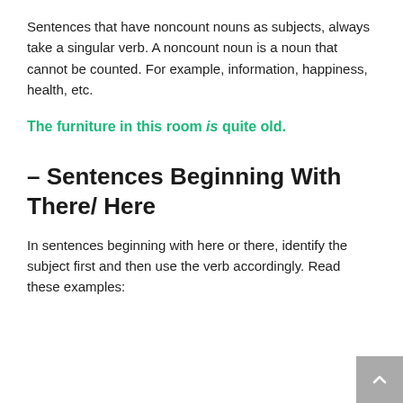Sentences that have noncount nouns as subjects, always take a singular verb. A noncount noun is a noun that cannot be counted. For example, information, happiness, health, etc.
The furniture in this room is quite old.
– Sentences Beginning With There/ Here
In sentences beginning with here or there, identify the subject first and then use the verb accordingly. Read these examples: